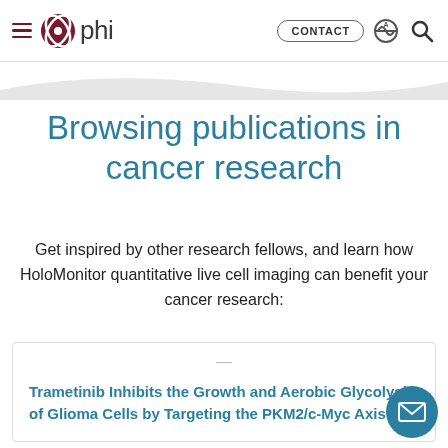phi | CONTACT
Browsing publications in cancer research
Get inspired by other research fellows, and learn how HoloMonitor quantitative live cell imaging can benefit your cancer research:
Trametinib Inhibits the Growth and Aerobic Glycolysis of Glioma Cells by Targeting the PKM2/c-Myc Axis